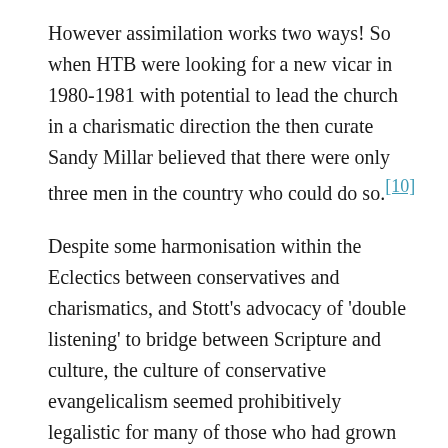However assimilation works two ways! So when HTB were looking for a new vicar in 1980-1981 with potential to lead the church in a charismatic direction the then curate Sandy Millar believed that there were only three men in the country who could do so.[10]
Despite some harmonisation within the Eclectics between conservatives and charismatics, and Stott's advocacy of 'double listening' to bridge between Scripture and culture, the culture of conservative evangelicalism seemed prohibitively legalistic for many of those who had grown up under Nash and his successors but been impacted by Renewal. They had discovered a new freedom in the Holy Spirit that did not match well with the legacy of teaching on holiness